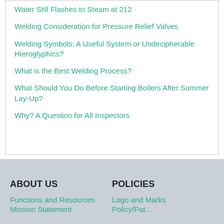Water Still Flashes to Steam at 212
Welding Consideration for Pressure Relief Valves
Welding Symbols: A Useful System or Undecipherable Hieroglyphics?
What is the Best Welding Process?
What Should You Do Before Starting Boilers After Summer Lay-Up?
Why? A Question for All Inspectors
ABOUT US
POLICIES
Functions and Resources
Logo and Marks
Mission Statement
Policy/Pat...